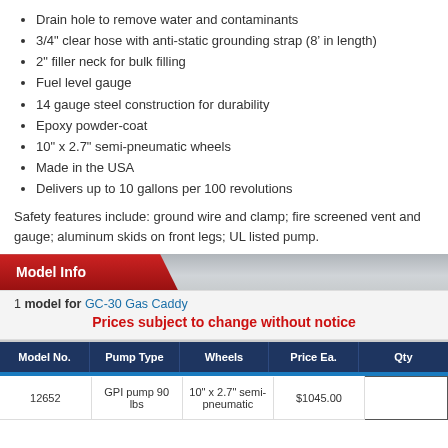Drain hole to remove water and contaminants
3/4" clear hose with anti-static grounding strap (8' in length)
2" filler neck for bulk filling
Fuel level gauge
14 gauge steel construction for durability
Epoxy powder-coat
10" x 2.7" semi-pneumatic wheels
Made in the USA
Delivers up to 10 gallons per 100 revolutions
Safety features include: ground wire and clamp; fire screened vent and gauge; aluminum skids on front legs; UL listed pump.
Model Info
1 model for GC-30 Gas Caddy
Prices subject to change without notice
| Model No. | Pump Type | Wheels | Price Ea. | Qty |
| --- | --- | --- | --- | --- |
| 12652 | GPI pump 90 lbs | 10" x 2.7" semi-pneumatic | $1045.00 |  |